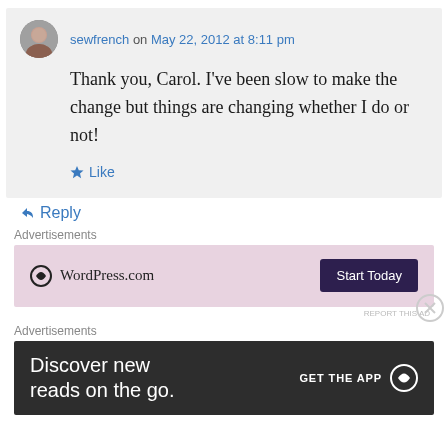sewfrench on May 22, 2012 at 8:11 pm
Thank you, Carol. I've been slow to make the change but things are changing whether I do or not!
Like
Reply
Advertisements
[Figure (infographic): WordPress.com pink advertisement banner with 'Start Today' button]
REPORT THIS AD
Advertisements
[Figure (infographic): WordPress.com dark advertisement banner with text 'Discover new reads on the go.' and 'GET THE APP' button with WordPress logo]